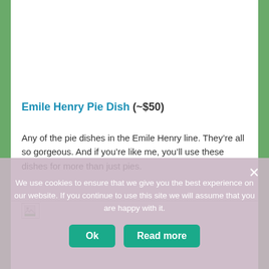Emile Henry Pie Dish (~$50)
Any of the pie dishes in the Emile Henry line. They're all so gorgeous. And if you're like me, you'll use these dishes for more than just pies.
[Figure (photo): Broken/unloaded image placeholder with small icon at left]
We use cookies to ensure that we give you the best experience on our website. If you continue to use this site we will assume that you are happy with it.